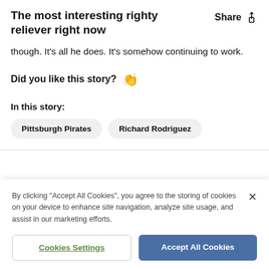The most interesting righty reliever right now
though. It's all he does. It's somehow continuing to work.
Did you like this story? 👏
In this story:
Pittsburgh Pirates
Richard Rodriguez
By clicking "Accept All Cookies", you agree to the storing of cookies on your device to enhance site navigation, analyze site usage, and assist in our marketing efforts.
Cookies Settings
Accept All Cookies